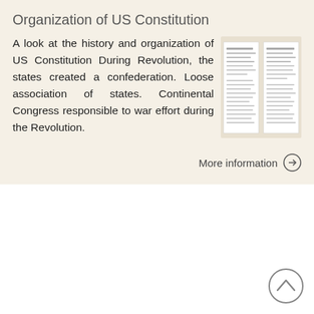Organization of US Constitution
A look at the history and organization of US Constitution During Revolution, the states created a confederation. Loose association of states. Continental Congress responsible to war effort during the Revolution.
[Figure (illustration): Thumbnail image of a US Constitution document page]
More information →